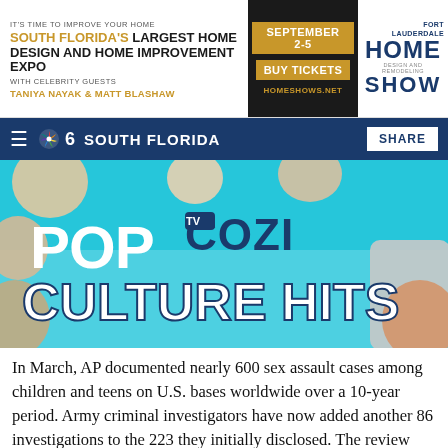[Figure (other): Advertisement banner for South Florida's Largest Home Design and Home Improvement Expo with celebrity guests Taniya Nayak & Matt Blashaw. September 2-5, Buy Tickets, homeshows.net. Fort Lauderdale Home Design and Remodeling Show logo.]
NBC 6 South Florida | SHARE
[Figure (photo): Pop Cozi TV Culture Hits promotional image with celebrity faces on teal/blue background]
In March, AP documented nearly 600 sex assault cases among children and teens on U.S. bases worldwide over a 10-year period. Army criminal investigators have now added another 86 investigations to the 223 they initially disclosed. The review comes after AP challenges that trooper reported…